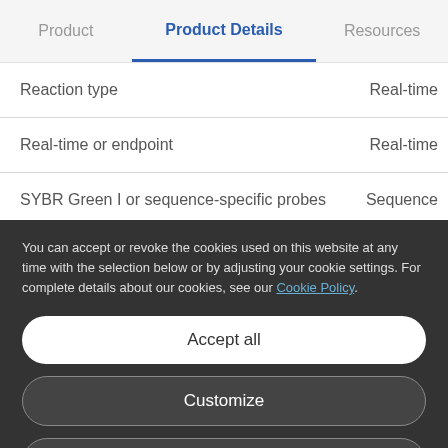Product | Product Details | Resources
| Property | Value |
| --- | --- |
| Reaction type | Real-time |
| Real-time or endpoint | Real-time |
| SYBR Green I or sequence-specific probes | Sequence |
You can accept or revoke the cookies used on this website at any time with the selection below or by adjusting your cookie settings. For complete details about our cookies, see our Cookie Policy.
Accept all
Customize
Only necessary